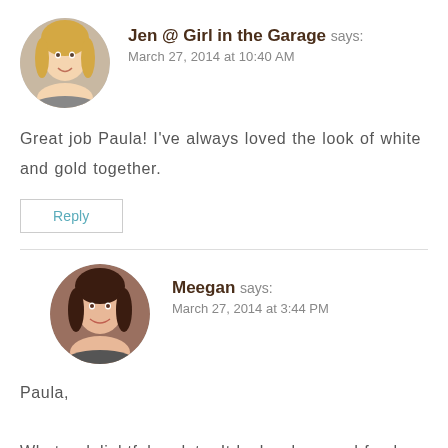[Figure (photo): Circular avatar photo of Jen, a blonde woman smiling]
Jen @ Girl in the Garage says:
March 27, 2014 at 10:40 AM
Great job Paula! I've always loved the look of white and gold together.
Reply
[Figure (photo): Circular avatar photo of Meegan, a dark-haired woman smiling]
Meegan says:
March 27, 2014 at 3:44 PM
Paula,
What a delightful update. It looks clean and fresh.
Thanks for sharing. Pinned 📌